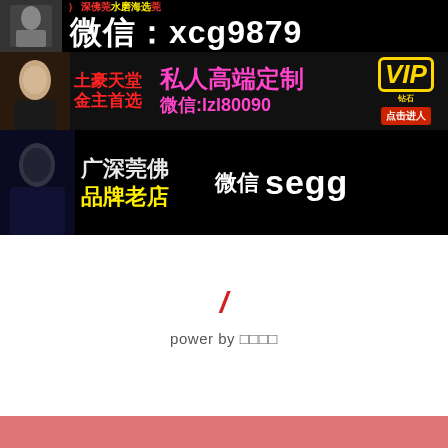[Figure (infographic): Black banner with Chinese text: 微信：xcg9879, with small decorative photo on left and red/yellow text strip at top]
[Figure (infographic): Black banner: 土豪天堂 金主首选 私人高端定制 微信:lzl80090 VIP点击进人]
[Figure (infographic): Black banner: 广深莞佛 品牌老店 微信 segg]
power by □□□□
[Figure (illustration): Salmon/pink footer bar at bottom of page]